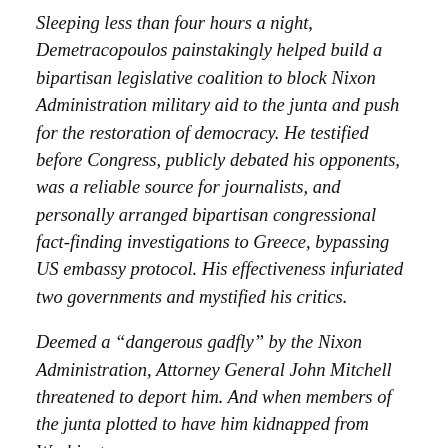Sleeping less than four hours a night, Demetracopoulos painstakingly helped build a bipartisan legislative coalition to block Nixon Administration military aid to the junta and push for the restoration of democracy. He testified before Congress, publicly debated his opponents, was a reliable source for journalists, and personally arranged bipartisan congressional fact-finding investigations to Greece, bypassing US embassy protocol. His effectiveness infuriated two governments and mystified his critics.
Deemed a “dangerous gadfly” by the Nixon Administration, Attorney General John Mitchell threatened to deport him. And when members of the junta plotted to have him kidnapped from Washington